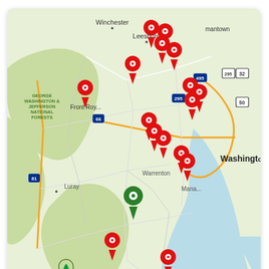[Figure (map): Apple Maps screenshot showing the Virginia/DC area including Winchester, Leesburg, Front Royal, Warrenton, Culpeper, Fredericksburg, Manassas, and Washington DC. Multiple red map pins and one green map pin are shown across the region. Shenandoah National Park, George Washington & Jefferson National Forests are labeled. Interstate highway markers (66, 81, 495, 295) and US routes (32, 50) are visible. Apple Maps logo and Legal/zoom controls appear at the bottom.]